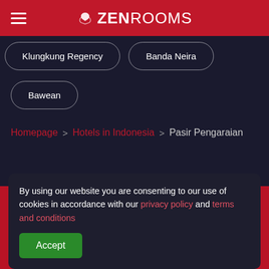ZEN ROOMS
Klungkung Regency
Banda Neira
Bawean
Homepage > Hotels in Indonesia > Pasir Pengaraian
DOWNLOAD OUR APP
By using our website you are consenting to our use of cookies in accordance with our privacy policy and terms and conditions
Accept